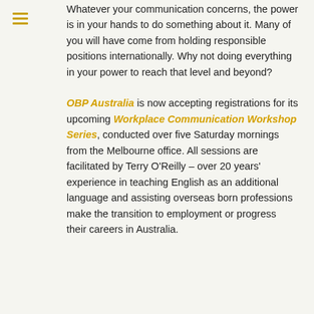[Figure (other): Hamburger menu icon with three horizontal gold/yellow lines]
Whatever your communication concerns, the power is in your hands to do something about it. Many of you will have come from holding responsible positions internationally. Why not doing everything in your power to reach that level and beyond?
OBP Australia is now accepting registrations for its upcoming Workplace Communication Workshop Series, conducted over five Saturday mornings from the Melbourne office. All sessions are facilitated by Terry O'Reilly – over 20 years' experience in teaching English as an additional language and assisting overseas born professions make the transition to employment or progress their careers in Australia.